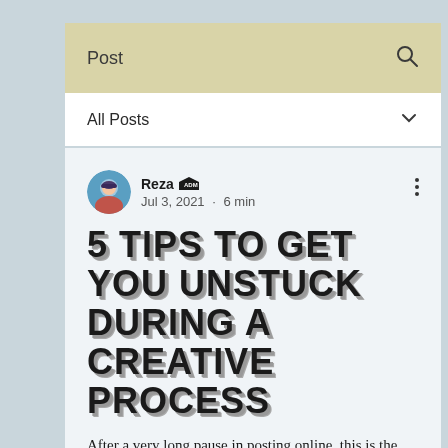Post
All Posts
Reza  Jul 3, 2021 · 6 min
5 TIPS TO GET YOU UNSTUCK DURING A CREATIVE PROCESS
After a very long pause in posting online, this is the first blog post of my